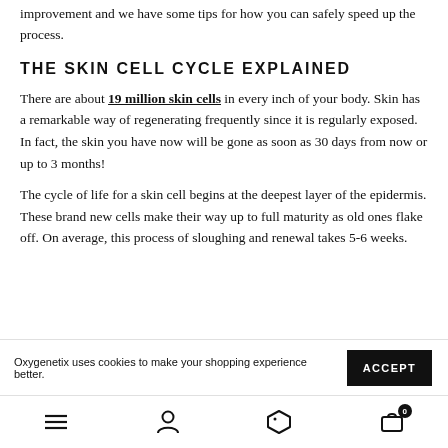improvement and we have some tips for how you can safely speed up the process.
THE SKIN CELL CYCLE EXPLAINED
There are about 19 million skin cells in every inch of your body. Skin has a remarkable way of regenerating frequently since it is regularly exposed. In fact, the skin you have now will be gone as soon as 30 days from now or up to 3 months!
The cycle of life for a skin cell begins at the deepest layer of the epidermis. These brand new cells make their way up to full maturity as old ones flake off. On average, this process of sloughing and renewal takes 5-6 weeks.
Oxygenetix uses cookies to make your shopping experience better.
ACCEPT